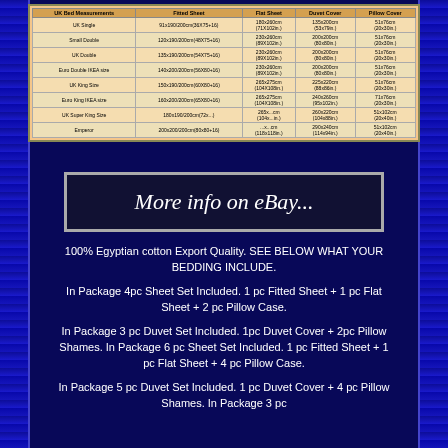| UK Bed Measurements | Fitted Sheet | Flat Sheet | Duvet Cover | Pillow Cover |
| --- | --- | --- | --- | --- |
| UK Single | 91x190/200cm(36x75+16) | 180x260cm (71x102in.) | 135x200cm (53x79in.) | 51x76cm (20x30in.) |
| Small Double | 120x190/200cm(48x75+16) | 230x260cm (89x102in.) | 200x200cm (80x80in.) | 51x76cm (20x30in.) |
| UK Double | 135x190/200cm(54x75+16) | 230x260cm (89x102in.) | 200x200cm (80x80in.) | 51x76cm (20x30in.) |
| Euro Double IKEA size | 140x200/200cm(56x80+16) | 230x260cm (89x102in.) | 200x200cm (80x80in.) | 51x76cm (20x30in.) |
| UK King Size | 150x190/200cm(60x80+16) | 265x275cm (104x108in.) | 225x220cm (88x86in.) | 51x76cm (20x30in.) |
| Euro King IKEA size | 160x200/200cm(65x80+16) | 265x275cm (104x108in.) | 240x260cm (95x102in.) | 71x76cm (20x30in.) |
| UK Super King Size | 180x190/200cm(72x...) | 265x...cm (104x...in.) | 260x220cm (104x88in.) | 51x102cm (20x40in.) |
| Emperor | 200x200/200cm(80x80+16) | ...x...cm (118x118in.) | 290x240cm (114x94in.) | 51x102cm (20x40in.) |
[Figure (screenshot): eBay 'More info on eBay...' button with white italic text on dark navy background with gray border]
100% Egyptian cotton Export Quality. SEE BELOW WHAT YOUR BEDDING INCLUDE.
In Package 4pc Sheet Set Included. 1 pc Fitted Sheet + 1 pc Flat Sheet + 2 pc Pillow Case.
In Package 3 pc Duvet Set Included. 1pc Duvet Cover + 2pc Pillow Shames. In Package 6 pc Sheet Set Included. 1 pc Fitted Sheet + 1 pc Flat Sheet + 4 pc Pillow Case.
In Package 5 pc Duvet Set Included. 1 pc Duvet Cover + 4 pc Pillow Shames. In Package 3 pc